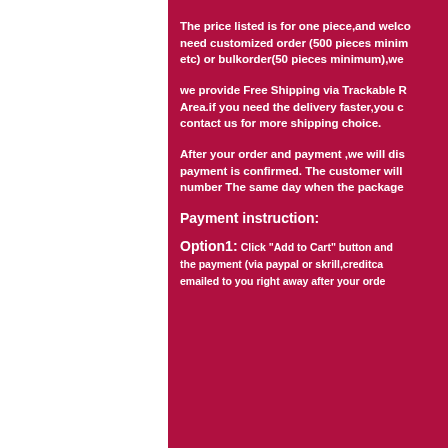The price listed is for one piece,and welco need customized order (500 pieces minim etc) or bulkorder(50 pieces minimum),we
we provide Free Shipping via Trackable R Area.if you need the delivery faster,you c contact us for more shipping choice.
After your order and payment ,we will dis payment is confirmed. The customer will number The same day when the package
Payment instruction:
Option1: Click "Add to Cart" button and the payment (via paypal or skrill,creditca emailed to you right away after your orde